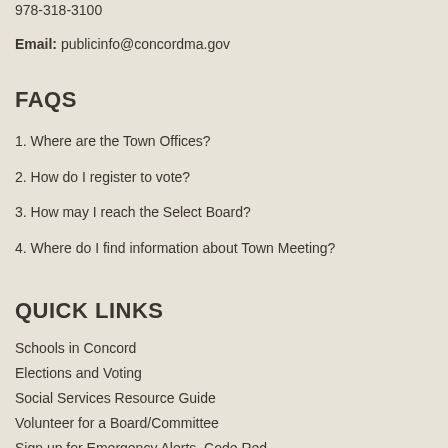978-318-3100
Email: publicinfo@concordma.gov
FAQS
1. Where are the Town Offices?
2. How do I register to vote?
3. How may I reach the Select Board?
4. Where do I find information about Town Meeting?
QUICK LINKS
Schools in Concord
Elections and Voting
Social Services Resource Guide
Volunteer for a Board/Committee
Sign up for Emergency Alerts, Code Red